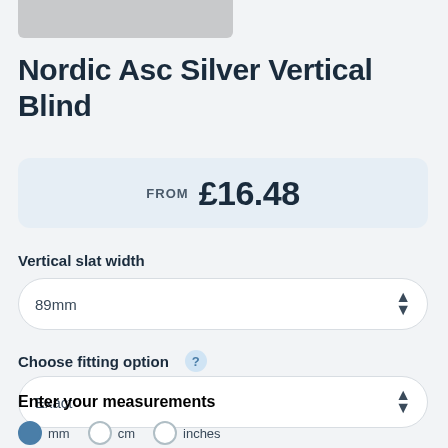[Figure (photo): Bottom portion of a product image showing a silver vertical blind, cropped at top of page]
Nordic Asc Silver Vertical Blind
FROM £16.48
Vertical slat width
89mm
Choose fitting option
Exact
Enter your measurements
mm  cm  inches